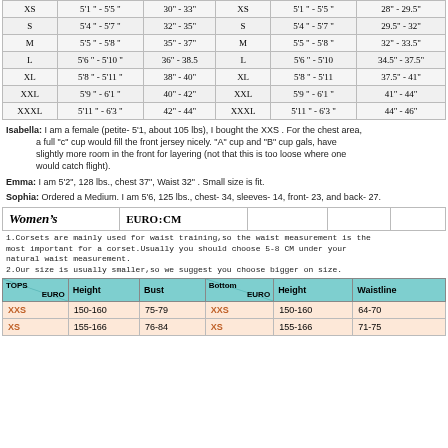| Size | Height | Chest | Size | Height | Chest |
| --- | --- | --- | --- | --- | --- |
| XS | 5'1"-5'5" | 30"-33" | XS | 5'1"-5'5" | 28"-29.5" |
| S | 5'4"-5'7" | 32"-35" | S | 5'4"-5'7" | 29.5"-32" |
| M | 5'5"-5'8" | 35"-37" | M | 5'5"-5'8" | 32"-33.5" |
| L | 5'6"-5'10" | 36"-38.5 | L | 5'6"-5'10 | 34.5"-37.5" |
| XL | 5'8"-5'11" | 38"-40" | XL | 5'8"-5'11 | 37.5"-41" |
| XXL | 5'9"-6'1" | 40"-42" | XXL | 5'9"-6'1" | 41"-44" |
| XXXL | 5'11"-6'3" | 42"-44" | XXXL | 5'11"-6'3" | 44"-46" |
Isabella: I am a female (petite- 5'1, about 105 lbs), I bought the XXS . For the chest area, a full "c" cup would fill the front jersey nicely. "A" cup and "B" cup gals, have slightly more room in the front for layering (not that this is too loose where one would catch flight).
Emma: I am 5'2", 128 lbs., chest 37", Waist 32" . Small size is fit.
Sophia: Ordered a Medium. I am 5'6, 125 lbs., chest- 34, sleeves- 14, front- 23, and back- 27.
| Women's | EURO:CM |  |  |  |  |
| --- | --- | --- | --- | --- | --- |
1.Corsets are mainly used for waist training,so the waist measurement is the most important for a corset.Usually you should choose 5-8 CM under your natural waist measurement.
2.Our size is usually smaller,so we suggest you choose bigger on size.
| TOPS | EURO | Height | Bust | Bottom | EURO | Height | Waistline |
| --- | --- | --- | --- | --- | --- | --- | --- |
| XXS |  | 150-160 | 75-79 | XXS |  | 150-160 | 64-70 |
| XS |  | 155-166 | 76-84 | XS |  | 155-166 | 71-75 |